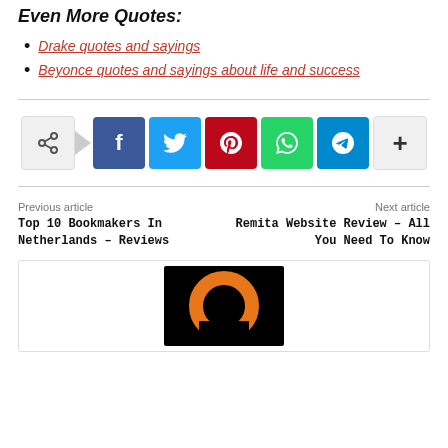Even More Quotes:
Drake quotes and sayings
Beyonce quotes and sayings about life and success
[Figure (infographic): Social share bar with share, Facebook, Twitter, Pinterest, WhatsApp, Telegram, and more buttons]
Previous article
Top 10 Bookmakers In Netherlands – Reviews
Next article
Remita Website Review – All You Need To Know
[Figure (logo): Author card with black background and orange circular logo mark]